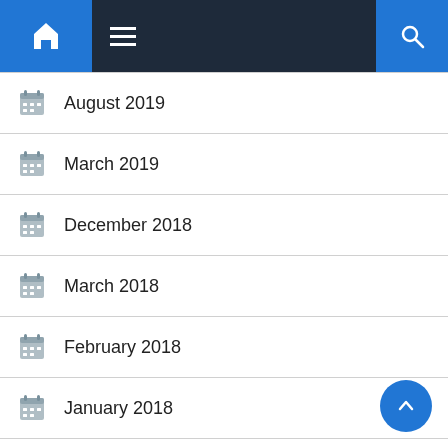Navigation bar with home, menu, and search icons
August 2019
March 2019
December 2018
March 2018
February 2018
January 2018
December 2017
October 2017
July 2017